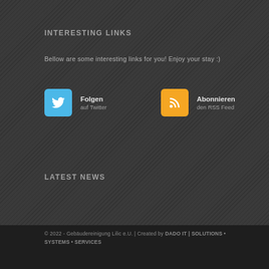INTERESTING LINKS
Bellow are some interesting links for you! Enjoy your stay :)
[Figure (infographic): Two social link buttons: Twitter follow button (blue icon with bird) and RSS subscribe button (orange icon with RSS symbol)]
LATEST NEWS
© 2022 - Gebäudereinigung Lilic e.U. | Created by DADO IT | SOLUTIONS • SYSTEMS • SERVICES